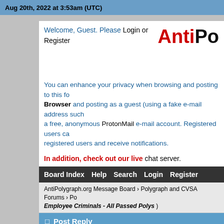Aug 20th, 2022 at 3:53am (UTC)
Welcome, Guest. Please Login or Register
[Figure (logo): AntiPolygraph.org logo — 'Anti' in red bold, 'Po' in black bold, large font, partially cropped]
You can enhance your privacy when browsing and posting to this forum by using the Tor Browser and posting as a guest (using a fake e-mail address such as ...) or by obtaining a free, anonymous ProtonMail e-mail account. Registered users can send messages to other registered users and receive notifications.
In addition, check out our live chat server.
Board Index  Help  Search  Login  Register
AntiPolygraph.org Message Board › Polygraph and CVSA Forums › Po... Employee Criminals - All Passed Polys )
Post Reply
| Field | Input |
| --- | --- |
| Name: |  |
| E-mail: |  |